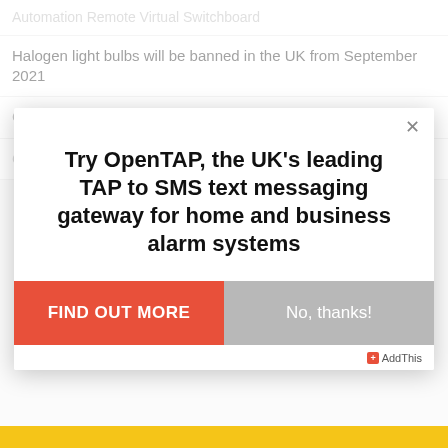Halogen light bulbs will be banned in the UK from September 2021
Crypto currency chart of the week
G.720 vs G.711 VoIP Codecs: Which Is Best?
Try OpenTAP, the UK's leading TAP to SMS text messaging gateway for home and business alarm systems
FIND OUT MORE
No, thanks!
AddThis